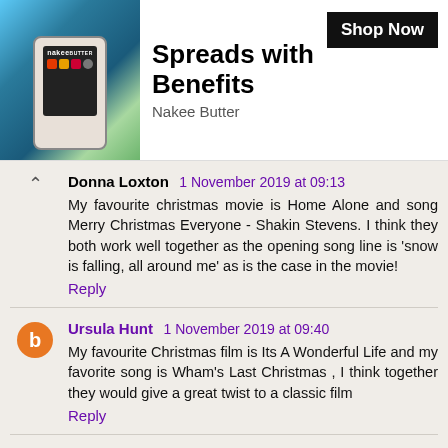[Figure (screenshot): Advertisement banner for Nakee Butter showing a phone with app screen, title 'Spreads with Benefits', brand name 'Nakee Butter', and a 'Shop Now' button]
Donna Loxton 1 November 2019 at 09:13
My favourite christmas movie is Home Alone and song Merry Christmas Everyone - Shakin Stevens. I think they both work well together as the opening song line is 'snow is falling, all around me' as is the case in the movie!
Reply
Ursula Hunt 1 November 2019 at 09:40
My favourite Christmas film is Its A Wonderful Life and my favorite song is Wham's Last Christmas , I think together they would give a great twist to a classic film
Reply
rochbarrett 1 November 2019 at 11:23